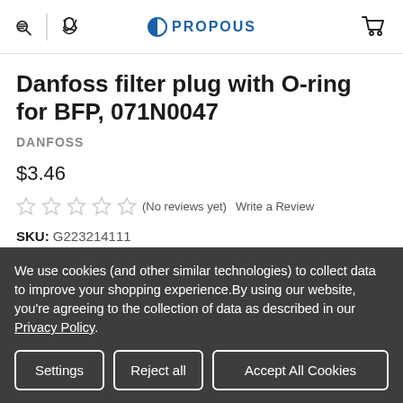PROPOUS — navigation header with search, phone, logo, and cart icons
Danfoss filter plug with O-ring for BFP, 071N0047
DANFOSS
$3.46
★★★★★ (No reviews yet)  Write a Review
SKU: G223214111
Condition: New
We use cookies (and other similar technologies) to collect data to improve your shopping experience.By using our website, you're agreeing to the collection of data as described in our Privacy Policy.
Settings  Reject all  Accept All Cookies